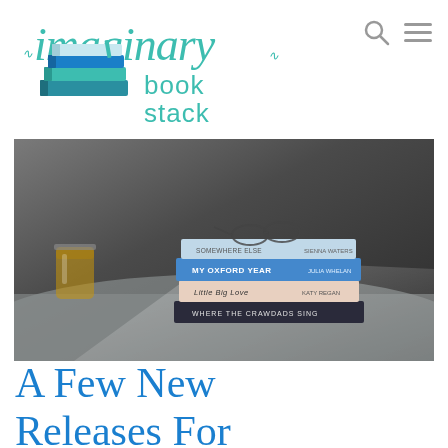[Figure (logo): Imaginary Book Stack logo: decorative cursive text 'imaginary' in teal/mint green with swirl ornaments, below it a stack of illustrated books icon in blue/teal, and to the right the words 'book stack' in teal sans-serif font.]
[Figure (photo): A stack of paperback books on a textured gray fabric surface, with a mason jar of amber liquid (tea) to the left and reading glasses resting on top. Visible book spines include: 'My Oxford Year' by Julia Whelan, 'Little Big Love' by Katy Regan, 'Where the Crawdads Sing'. Dark moody background with dramatic side lighting.]
A Few New Releases For